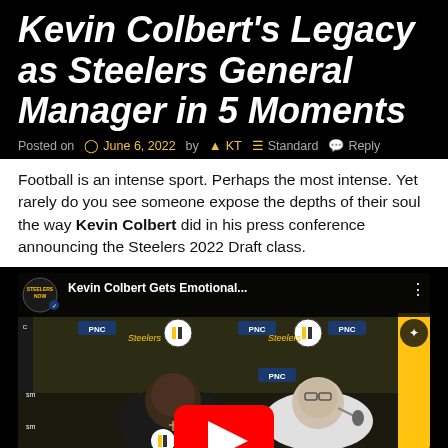Kevin Colbert's Legacy as Steelers General Manager in 5 Moments
Posted on  June 6, 2022 by  KT   Standard   Reply
Football is an intense sport. Perhaps the most intense. Yet rarely do you see someone expose the depths of their soul the way Kevin Colbert did in his press conference announcing the Steelers 2022 Draft class.
[Figure (screenshot): Embedded YouTube video thumbnail showing Kevin Colbert Gets Emotional... press conference with two men seated at a table with Steelers and PNC branding in background, with a YouTube play button overlay.]